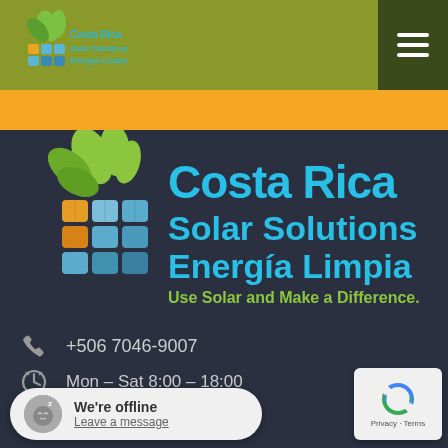Costa Rica Solar Solutions Energía Limpia
[Figure (logo): Costa Rica Solar Solutions Energía Limpia logo with solar panels and green leaves, tagline: Use Solar and Make a Difference.]
+506 7046-9007
Mon – Sat 8:00 – 18:00
We're offline
Leave a message